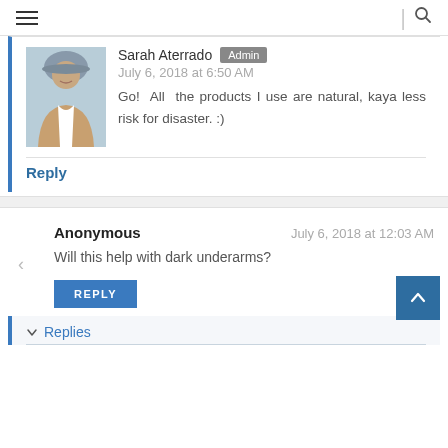≡  |  🔍
Sarah Aterrado  Admin
July 6, 2018 at 6:50 AM
Go! All the products I use are natural, kaya less risk for disaster. :)
Reply
Anonymous   July 6, 2018 at 12:03 AM
Will this help with dark underarms?
REPLY
▼ Replies